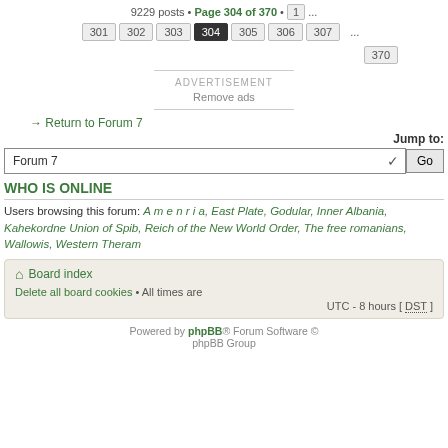9229 posts • Page 304 of 370 • 1 ...
301 302 303 304 305 306 307 ... 370
ADVERTISEMENT
Remove ads
← Return to Forum 7
Jump to:
Forum 7
Go
WHO IS ONLINE
Users browsing this forum: A m e n r i a, East Plate, Godular, Inner Albania, Kahekordne Union of Spib, Reich of the New World Order, The free romanians, Wallowis, Western Theram
Board index
Delete all board cookies • All times are UTC - 8 hours [ DST ]
Powered by phpBB® Forum Software © phpBB Group